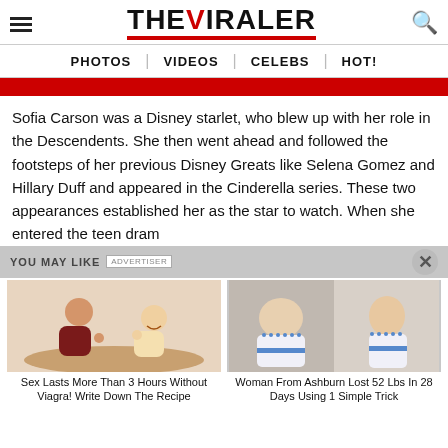THE VIRALER — PHOTOS | VIDEOS | CELEBS | HOT!
[Figure (illustration): Red banner/image bar at top of article]
Sofia Carson was a Disney starlet, who blew up with her role in the Descendents. She then went ahead and followed the footsteps of her previous Disney Greats like Selena Gomez and Hillary Duff and appeared in the Cinderella series. These two appearances established her as the star to watch. When she entered the teen dram
YOU MAY LIKE
[Figure (illustration): Illustrated image of couple in bed — Sex Lasts More Than 3 Hours Without Viagra! Write Down The Recipe]
Sex Lasts More Than 3 Hours Without Viagra! Write Down The Recipe
[Figure (photo): Two photos of a woman before and after weight loss wearing blue and white dress — Woman From Ashburn Lost 52 Lbs In 28 Days Using 1 Simple Trick]
Woman From Ashburn Lost 52 Lbs In 28 Days Using 1 Simple Trick